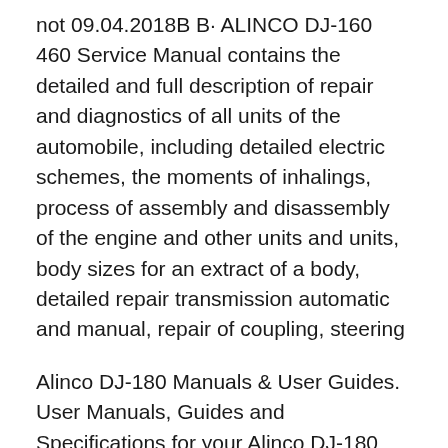not 09.04.2018В В· ALINCO DJ-160 460 Service Manual contains the detailed and full description of repair and diagnostics of all units of the automobile, including detailed electric schemes, the moments of inhalings, process of assembly and disassembly of the engine and other units and units, body sizes for an extract of a body, detailed repair transmission automatic and manual, repair of coupling, steering
Alinco DJ-180 Manuals & User Guides. User Manuals, Guides and Specifications for your Alinco DJ-180 Receiver, Transceiver. Database contains 4 Alinco DJ-180 Manuals (available for free online viewing or downloading in PDF): Specs, Instruction manual, Service manual . РЎСЂРµРґРёСЂ...